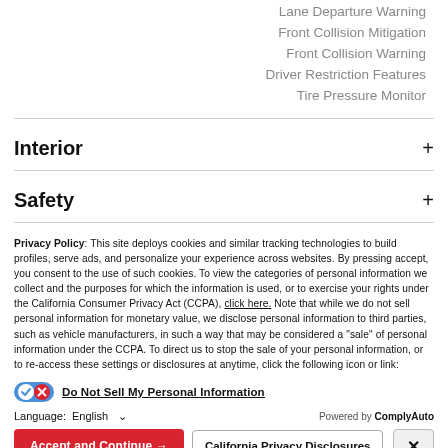Lane Departure Warning
Front Collision Mitigation
Front Collision Warning
Driver Restriction Features
Tire Pressure Monitor
Interior +
Safety +
Privacy Policy: This site deploys cookies and similar tracking technologies to build profiles, serve ads, and personalize your experience across websites. By pressing accept, you consent to the use of such cookies. To view the categories of personal information we collect and the purposes for which the information is used, or to exercise your rights under the California Consumer Privacy Act (CCPA), click here. Note that while we do not sell personal information for monetary value, we disclose personal information to third parties, such as vehicle manufacturers, in such a way that may be considered a "sale" of personal information under the CCPA. To direct us to stop the sale of your personal information, or to re-access these settings or disclosures at anytime, click the following icon or link:
Do Not Sell My Personal Information
Language:  English  ∨  Powered by ComplyAuto